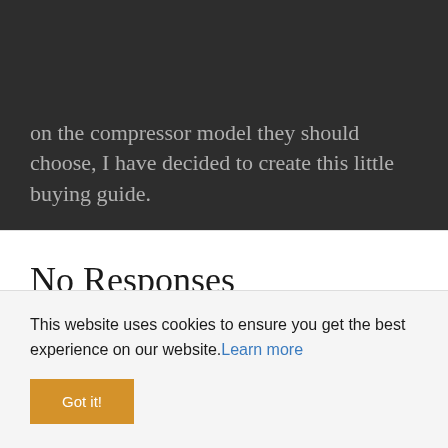As many clients ask me for advice on the compressor model they should choose, I have decided to create this little buying guide.
No Responses
Pingback: What is a portable compressor – DECEMBER 6, 2020
This website uses cookies to ensure you get the best experience on our website. Learn more